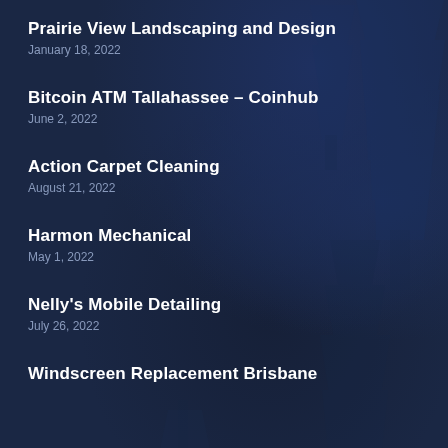Prairie View Landscaping and Design
January 18, 2022
Bitcoin ATM Tallahassee – Coinhub
June 2, 2022
Action Carpet Cleaning
August 21, 2022
Harmon Mechanical
May 1, 2022
Nelly's Mobile Detailing
July 26, 2022
Windscreen Replacement Brisbane